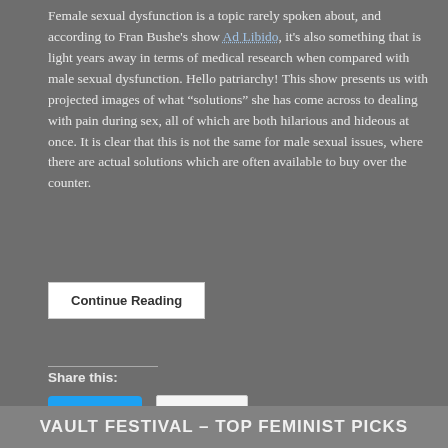Female sexual dysfunction is a topic rarely spoken about, and according to Fran Bushe's show Ad Libido, it's also something that is light years away in terms of medical research when compared with male sexual dysfunction. Hello patriarchy! This show presents us with projected images of what “solutions” she has come across to dealing with pain during sex, all of which are both hilarious and hideous at once. It is clear that this is not the same for male sexual issues, where there are actual solutions which are often available to buy over the counter.
Continue Reading
Share this:
Tweet
Email
Like
3 bloggers like this.
VAULT FESTIVAL – TOP FEMINIST PICKS